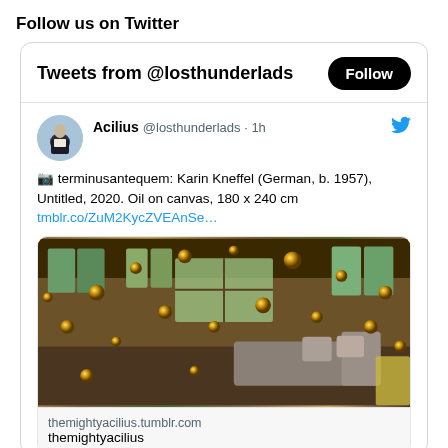Follow us on Twitter
Tweets from @losthunderlads
Follow
[Figure (screenshot): Twitter widget showing a tweet from Acilius @losthunderlads · 1h with text about terminusantequem: Karin Kneffel (German, b. 1957), Untitled, 2020. Oil on canvas, 180 x 240 cm and a link, along with an attached image of a painting showing an interior room with golden orbs floating, and a link preview for themightyacilius.tumblr.com / themightyacilius]